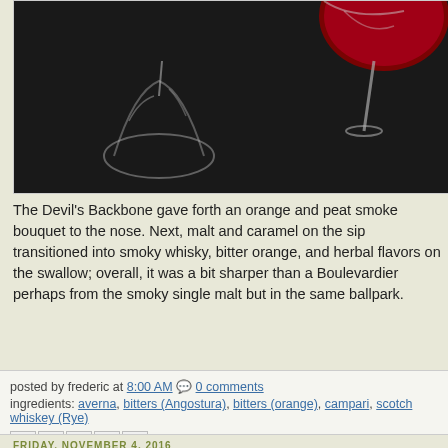[Figure (photo): Dark photograph showing a cocktail glass with red liquid and a second overturned or angled glass on a dark surface]
The Devil's Backbone gave forth an orange and peat smoke bouquet to the nose. Next, malt and caramel on the sip transitioned into smoky whisky, bitter orange, and herbal flavors on the swallow; overall, it was a bit sharper than a Boulevardier perhaps from the smoky single malt but in the same ballpark.
posted by frederic at 8:00 AM  0 comments
ingredients: averna, bitters (Angostura), bitters (orange), campari, scotch whiskey (Rye)
FRIDAY, NOVEMBER 4, 2016
port light